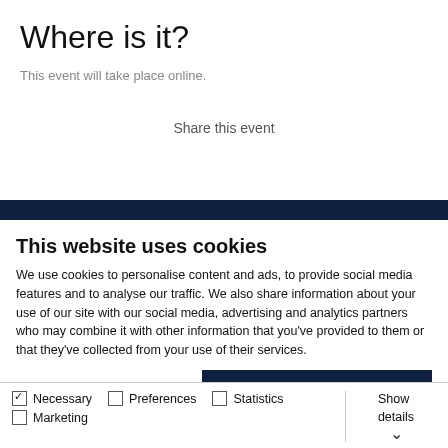Where is it?
This event will take place online.
Share this event
This website uses cookies
We use cookies to personalise content and ads, to provide social media features and to analyse our traffic. We also share information about your use of our site with our social media, advertising and analytics partners who may combine it with other information that you've provided to them or that they've collected from your use of their services.
Allow all cookies
Allow selection
Use necessary cookies only
Necessary   Preferences   Statistics   Marketing   Show details